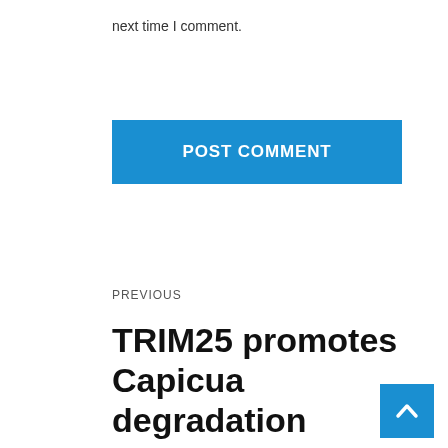next time I comment.
[Figure (other): POST COMMENT button — blue rectangular button with white uppercase bold text]
PREVIOUS
TRIM25 promotes Capicua degradation independently of ERK in the absence of ATXN1L
[Figure (other): Back to top button — blue square with white upward chevron arrow]